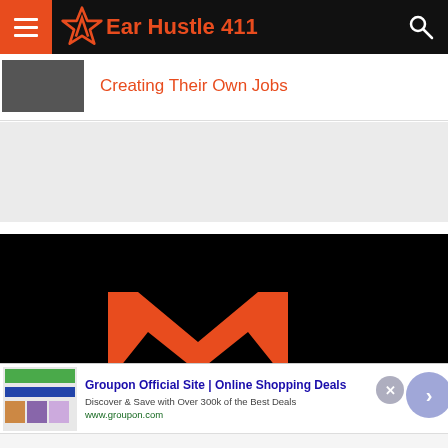Ear Hustle 411
Creating Their Own Jobs
[Figure (screenshot): Gray advertisement banner placeholder area]
[Figure (screenshot): Black video player area with orange M logo mark]
[Figure (screenshot): Groupon advertisement overlay: Groupon Official Site | Online Shopping Deals - Discover & Save with Over 300k of the Best Deals - www.groupon.com]